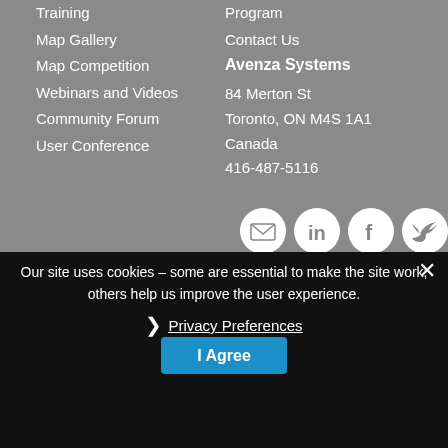Training
Map Gallery
Map Competition
Webinars and Videos
Community Forum
User Conference
Program
Contact Us
Avenza Systems
84 Merton St
Toronto, ON M4S 1A1
Canada
416-487-5116
[Figure (infographic): Social media icons: email, LinkedIn, Facebook, Twitter]
Our site uses cookies – some are essential to make the site work; others help us improve the user experience.
❯ Privacy Preferences
I Agree
© Copyright 2022 Avenza... | Legal | Privacy | Cookie Policy